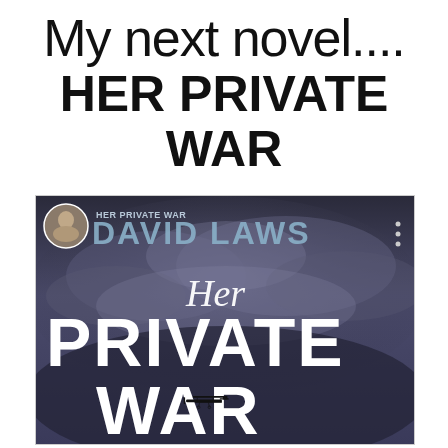My next novel....
HER PRIVATE WAR
[Figure (illustration): Book cover of 'Her Private War' by David Laws. Dark stormy sky background with a small biplane silhouette. The cover shows circular author photo, text 'HER PRIVATE WAR' and 'DAVID LAWS' at top, then large italic 'Her' and bold white 'PRIVATE WAR' text below.]